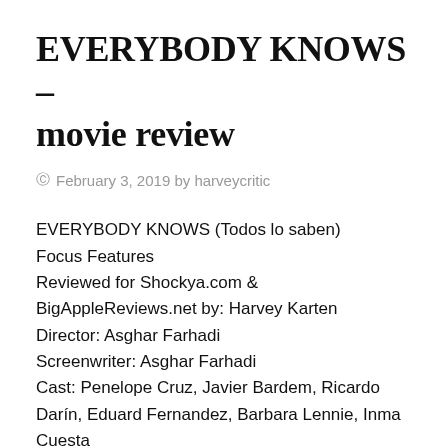EVERYBODY KNOWS – movie review
© February 3, 2019 by harveycritic
EVERYBODY KNOWS (Todos lo saben)
Focus Features
Reviewed for Shockya.com & BigAppleReviews.net by: Harvey Karten
Director: Asghar Farhadi
Screenwriter: Asghar Farhadi
Cast: Penelope Cruz, Javier Bardem, Ricardo Darín, Eduard Fernandez, Barbara Lennie, Inma Cuesta